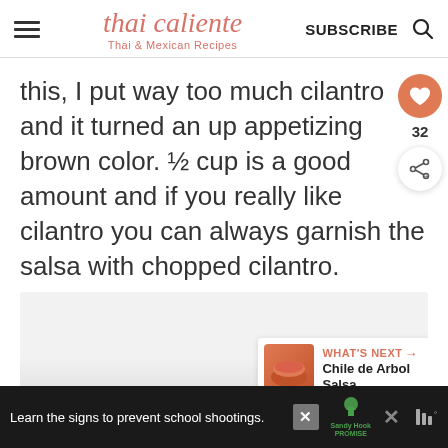thai caliente — Thai & Mexican Recipes — SUBSCRIBE
this, I put way too much cilantro and it turned an up appetizing brown color. ½ cup is a good amount and if you really like cilantro you can always garnish the salsa with chopped cilantro.
[Figure (photo): Partial food photograph at bottom of page, light colored dish visible]
[Figure (infographic): What's Next banner showing Chile de Arbol Salsa with sauce image thumbnail]
Learn the signs to prevent school shootings. Sandy Hook Promise